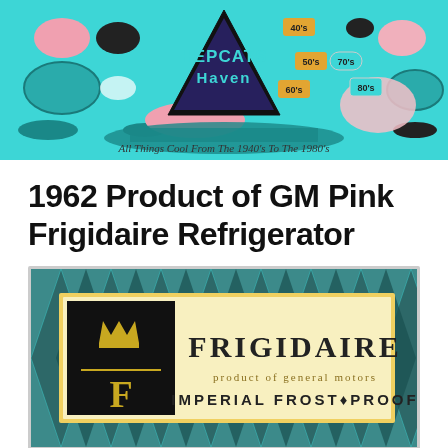[Figure (logo): Hepcats Haven banner logo: teal/turquoise background with retro mid-century modern decorative circles and discs in pink, black, teal. Center shows a triangular logo with 'HEPCATS Haven' text and decade labels 40's, 50's, 60's, 70's, 80's. Tagline: All Things Cool From The 1940's To The 1980's]
1962 Product of GM Pink Frigidaire Refrigerator
[Figure (logo): Frigidaire product logo on teal mid-century modern geometric patterned background. Gold-bordered rectangle contains: black square with gold crown and gold letter F with horizontal bar, and text FRIGIDAIRE in large serif letters, product of general motors in smaller text, IMPERIAL FROST•PROOF in bold spaced letters]